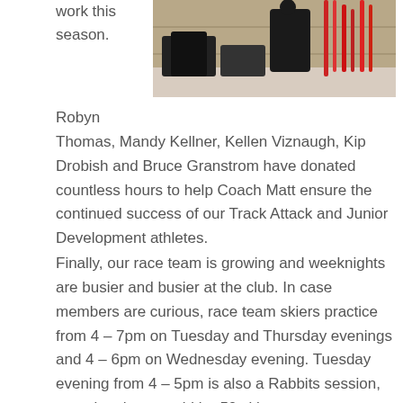work this season.
[Figure (photo): Indoor photo showing ski equipment and gear in what appears to be a ski club or wax room setting.]
Robyn Thomas, Mandy Kellner, Kellen Viznaugh, Kip Drobish and Bruce Granstrom have donated countless hours to help Coach Matt ensure the continued success of our Track Attack and Junior Development athletes.
Finally, our race team is growing and weeknights are busier and busier at the club. In case members are curious, race team skiers practice from 4 – 7pm on Tuesday and Thursday evenings and 4 – 6pm on Wednesday evening. Tuesday evening from 4 – 5pm is also a Rabbits session, meaning there could be 50 skiers on-snow at one time! Saturday mornings are traditionally busy for the entirety of our Ski League programming and non-race weekend afternoons will have our eldest JD skiers on the trails from 12:30 until 3pm.
Top Revelstoke Nordic performances from the 2015-16 race season: